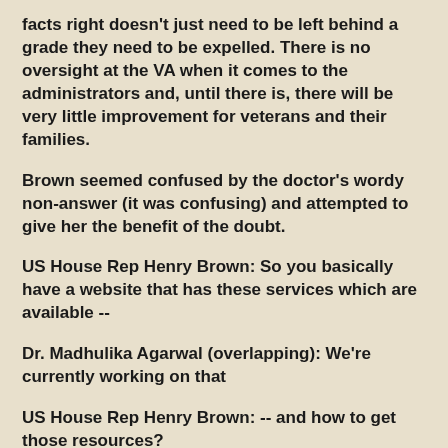facts right doesn't just need to be left behind a grade they need to be expelled. There is no oversight at the VA when it comes to the administrators and, until there is, there will be very little improvement for veterans and their families.
Brown seemed confused by the doctor's wordy non-answer (it was confusing) and attempted to give her the benefit of the doubt.
US House Rep Henry Brown: So you basically have a website that has these services which are available --
Dr. Madhulika Agarwal (overlapping): We're currently working on that
US House Rep Henry Brown: -- and how to get those resources?
Dr. Madhulika Agarwal: We are working on it, sir. It's in -- it's in development phase.